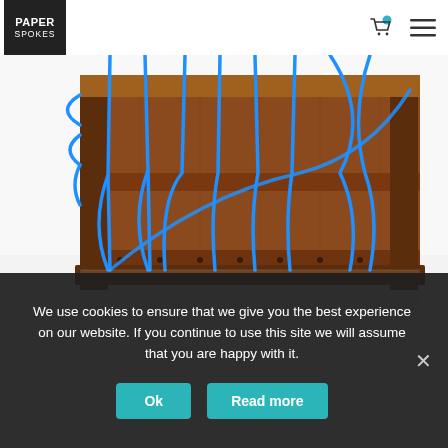[Figure (logo): Paper Spokes logo — white text on dark square background]
[Figure (photo): A wooden box/crate structure threaded with bright blue rope/cord, photographed on a white reflective surface. The wooden frame appears to be a book or magazine holder with blue cord woven through slots.]
We use cookies to ensure that we give you the best experience on our website. If you continue to use this site we will assume that you are happy with it.
Ok
Read more